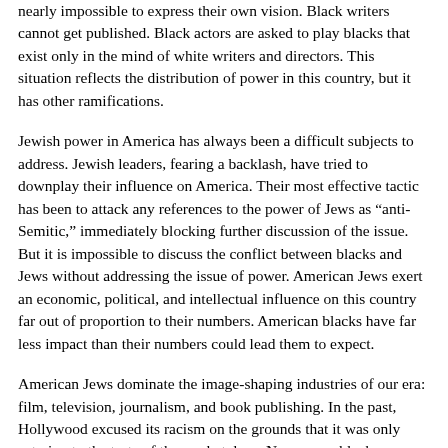nearly impossible to express their own vision. Black writers cannot get published. Black actors are asked to play blacks that exist only in the mind of white writers and directors. This situation reflects the distribution of power in this country, but it has other ramifications.
Jewish power in America has always been a difficult subjects to address. Jewish leaders, fearing a backlash, have tried to downplay their influence on America. Their most effective tactic has been to attack any references to the power of Jews as “anti-Semitic,” immediately blocking further discussion of the issue. But it is impossible to discuss the conflict between blacks and Jews without addressing the issue of power. American Jews exert an economic, political, and intellectual influence on this country far out of proportion to their numbers. American blacks have far less impact than their numbers could lead them to expect.
American Jews dominate the image-shaping industries of our era: film, television, journalism, and book publishing. In the past, Hollywood excused its racism on the grounds that it was only catering to the taste of the marketplace. Now, some blacks suspect, the seriously distorted representation of blacks in America may not be accidental but the product of hostilities that go back to the 1960s. The fact that these industries are associated with Jews does little for relations between the races.